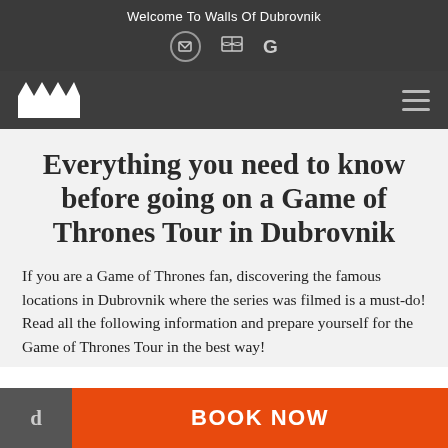Welcome To Walls Of Dubrovnik
[Figure (screenshot): Navigation bar with castle logo icon and hamburger menu on dark background]
Everything you need to know before going on a Game of Thrones Tour in Dubrovnik
If you are a Game of Thrones fan, discovering the famous locations in Dubrovnik where the series was filmed is a must-do! Read all the following information and prepare yourself for the Game of Thrones Tour in the best way!
BOOK NOW